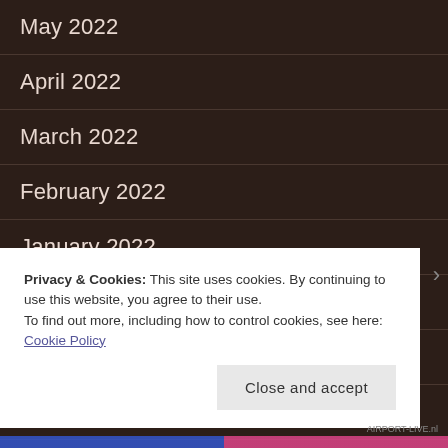May 2022
April 2022
March 2022
February 2022
January 2022
December 2021
November 2021
October 2021
September 2021
Privacy & Cookies: This site uses cookies. By continuing to use this website, you agree to their use.
To find out more, including how to control cookies, see here: Cookie Policy
Close and accept